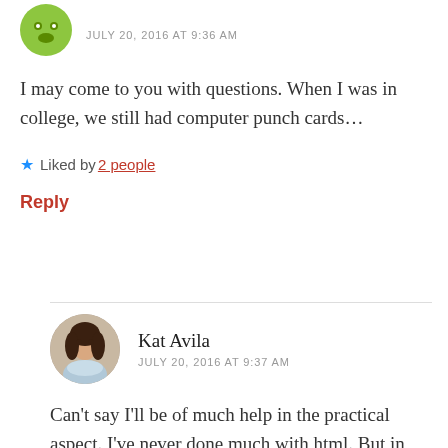[Figure (illustration): Green cartoon avatar icon at top left]
JULY 20, 2016 AT 9:36 AM
I may come to you with questions. When I was in college, we still had computer punch cards...
★ Liked by 2 people
Reply
[Figure (photo): Circular profile photo of Kat Avila, a woman with dark hair and a light blue scarf]
Kat Avila
JULY 20, 2016 AT 9:37 AM
Can't say I'll be of much help in the practical aspect. I've never done much with html. But in theory, sure! 🙂